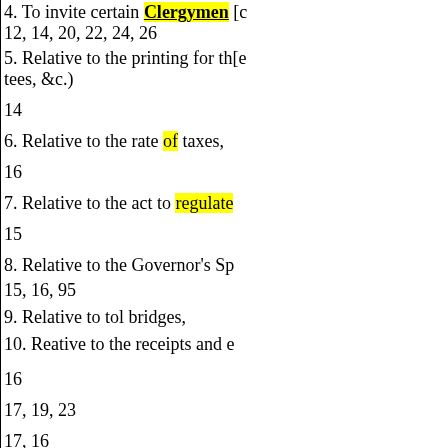4. To invite certain Clergymen [continued] 12, 14, 20, 22, 24, 26
5. Relative to the printing for th[e commit-] tees, &c.)
14
6. Relative to the rate of taxes,
16
7. Relative to the act to regulate[...]
15
8. Relative to the Governor's Sp[eech]
15, 16, 95
9. Relative to tol bridges,
10. Reative to the receipts and e[xpenditures]
16
17, 19, 23
17, 16
17, 19
17, 18